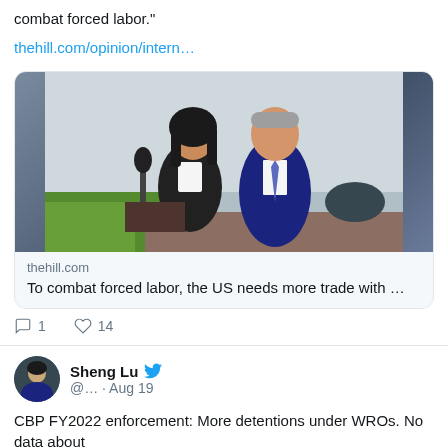combat forced labor."
thehill.com/opinion/intern…
[Figure (photo): Two people in professional attire standing outdoors near a microphone. A woman in a black blazer and a man in a dark suit with a blue tie.]
thehill.com
To combat forced labor, the US needs more trade with ...
1  14
Sheng Lu @… · Aug 19
CBP FY2022 enforcement: More detentions under WROs. No data about